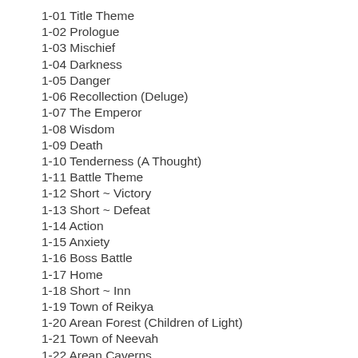1-01 Title Theme
1-02 Prologue
1-03 Mischief
1-04 Darkness
1-05 Danger
1-06 Recollection (Deluge)
1-07 The Emperor
1-08 Wisdom
1-09 Death
1-10 Tenderness (A Thought)
1-11 Battle Theme
1-12 Short ~ Victory
1-13 Short ~ Defeat
1-14 Action
1-15 Anxiety
1-16 Boss Battle
1-17 Home
1-18 Short ~ Inn
1-19 Town of Reikya
1-20 Arean Forest (Children of Light)
1-21 Town of Neevah
1-22 Arean Caverns